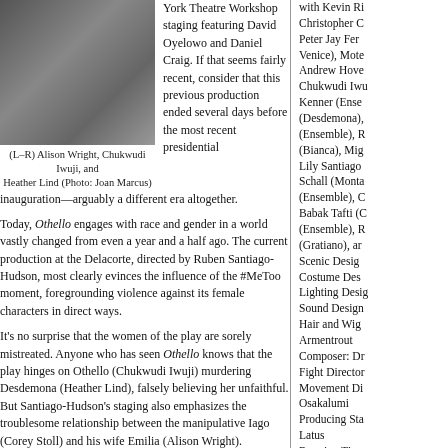[Figure (photo): Theater production photo showing (L-R) Alison Wright, Chukwudi Iwuji, and Heather Lind in period costumes]
(L–R) Alison Wright, Chukwudi Iwuji, and Heather Lind (Photo: Joan Marcus)
York Theatre Workshop staging featuring David Oyelowo and Daniel Craig. If that seems fairly recent, consider that this previous production ended several days before the most recent presidential inauguration—arguably a different era altogether.
Today, Othello engages with race and gender in a world vastly changed from even a year and a half ago. The current production at the Delacorte, directed by Ruben Santiago-Hudson, most clearly evinces the influence of the #MeToo moment, foregrounding violence against its female characters in direct ways.
It's no surprise that the women of the play are sorely mistreated. Anyone who has seen Othello knows that the play hinges on Othello (Chukwudi Iwuji) murdering Desdemona (Heather Lind), falsely believing her unfaithful. But Santiago-Hudson's staging also emphasizes the troublesome relationship between the manipulative Iago (Corey Stoll) and his wife Emilia (Alison Wright).
Lind and Wright skillfully, and at times heartbreakingly, convey the struggles of their characters as they consider their supposed duty to their husbands against the iniquities to which these men subject them. The violence they endure here, and to a lesser extent Bianca (Flor De Lo...
with Kevin Ri Christopher C Peter Jay Fer Venice), Mote Andrew Hove Chukwudi Iwu Kenner (Ense (Desdemona), (Ensemble), F (Bianca), Mig Lily Santiago Schall (Monta (Ensemble), C Babak Tafti (C (Ensemble), F (Gratiano), ar Scenic Desig Costume Des Lighting Desig Sound Design Hair and Wig Armentrout Composer: Dr Fight Director Movement Di Osakalumi Producing Sta Latus Running Time